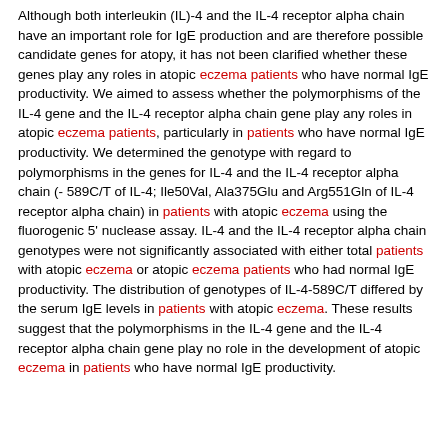Although both interleukin (IL)-4 and the IL-4 receptor alpha chain have an important role for IgE production and are therefore possible candidate genes for atopy, it has not been clarified whether these genes play any roles in atopic eczema patients who have normal IgE productivity. We aimed to assess whether the polymorphisms of the IL-4 gene and the IL-4 receptor alpha chain gene play any roles in atopic eczema patients, particularly in patients who have normal IgE productivity. We determined the genotype with regard to polymorphisms in the genes for IL-4 and the IL-4 receptor alpha chain (- 589C/T of IL-4; Ile50Val, Ala375Glu and Arg551Gln of IL-4 receptor alpha chain) in patients with atopic eczema using the fluorogenic 5' nuclease assay. IL-4 and the IL-4 receptor alpha chain genotypes were not significantly associated with either total patients with atopic eczema or atopic eczema patients who had normal IgE productivity. The distribution of genotypes of IL-4-589C/T differed by the serum IgE levels in patients with atopic eczema. These results suggest that the polymorphisms in the IL-4 gene and the IL-4 receptor alpha chain gene play no role in the development of atopic eczema in patients who have normal IgE productivity.